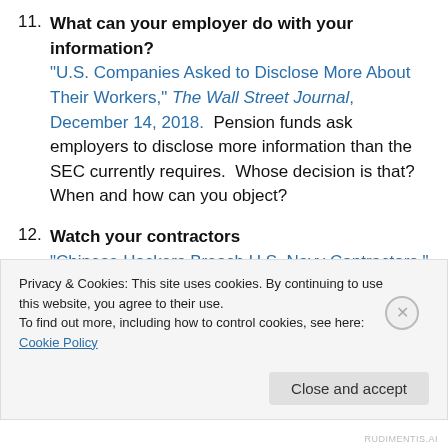11. What can your employer do with your information? "U.S. Companies Asked to Disclose More About Their Workers," The Wall Street Journal, December 14, 2018. Pension funds ask employers to disclose more information than the SEC currently requires. Whose decision is that? When and how can you object?
12. Watch your contractors "Chinese Hackers Breach U.S. Navy Contractors," The Wall Street Journal, December 15, 2018. What's this information worth, both to the US and to China? How
Privacy & Cookies: This site uses cookies. By continuing to use this website, you agree to their use. To find out more, including how to control cookies, see here: Cookie Policy